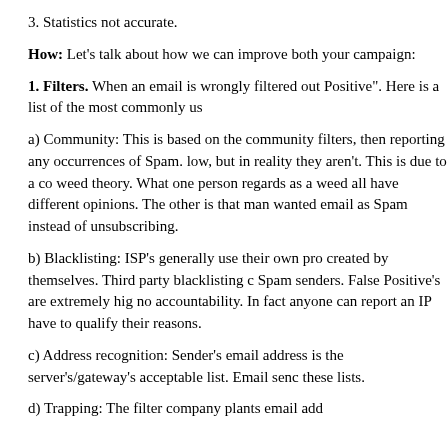3. Statistics not accurate.
How: Let's talk about how we can improve both your campaign:
1. Filters. When an email is wrongly filtered out Positive". Here is a list of the most commonly us
a) Community: This is based on the community filters, then reporting any occurrences of Spam. low, but in reality they aren't. This is due to a co weed theory. What one person regards as a weed all have different opinions. The other is that man wanted email as Spam instead of unsubscribing.
b) Blacklisting: ISP's generally use their own pro created by themselves. Third party blacklisting c Spam senders. False Positive's are extremely hig no accountability. In fact anyone can report an IP have to qualify their reasons.
c) Address recognition: Sender's email address is the server's/gateway's acceptable list. Email senc these lists.
d) Trapping: The filter company plants email add